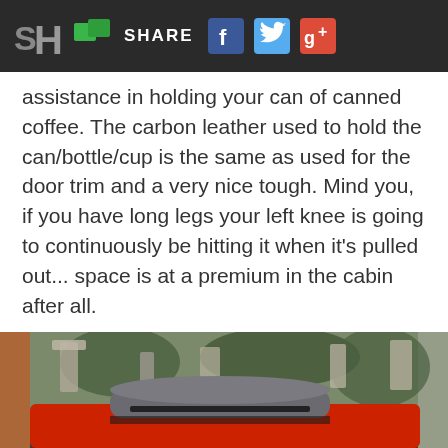SH SHARE [Facebook] [Twitter] [Google+]
assistance in holding your can of canned coffee. The carbon leather used to hold the can/bottle/cup is the same as used for the door trim and a very nice tough. Mind you, if you have long legs your left knee is going to continuously be hitting it when it's pulled out... space is at a premium in the cabin after all.
[Figure (photo): Exterior rear view of a red sports car with a gray roll bar/hood cover, parked near Japanese stone lanterns and greenery in the background.]